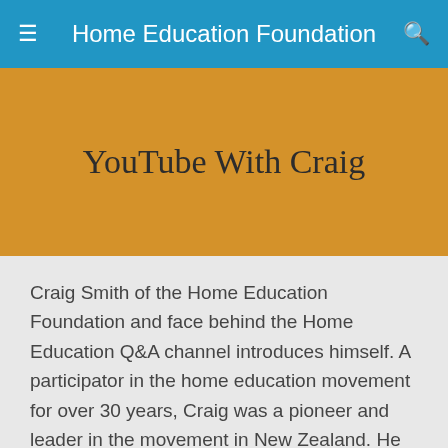Home Education Foundation
YouTube With Craig
Craig Smith of the Home Education Foundation and face behind the Home Education Q&A channel introduces himself. A participator in the home education movement for over 30 years, Craig was a pioneer and leader in the movement in New Zealand. He was the husband of Barbara and father to four natural, three adopted and one permanently fostered child under a guardianship arrangement and six grandchildren. His youngest child was born in 2005 so